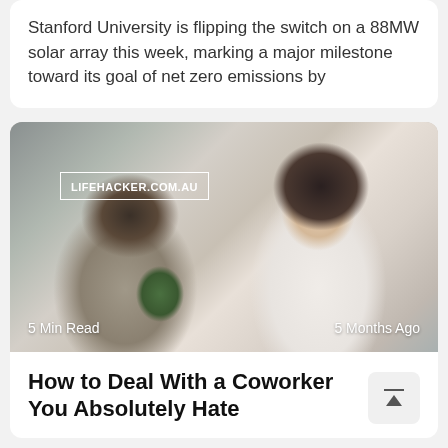Stanford University is flipping the switch on a 88MW solar array this week, marking a major milestone toward its goal of net zero emissions by
[Figure (photo): Photo showing two people in a meeting setting. On the left is a person seen from behind with dark hair. On the right is a woman in a white blouse sitting across a desk, looking seriously at the other person and holding papers. A LIFEHACKER.COM.AU badge is overlaid on the top left. Text overlays read '5 Min Read' bottom left and '5 Months Ago' bottom right.]
How to Deal With a Coworker You Absolutely Hate